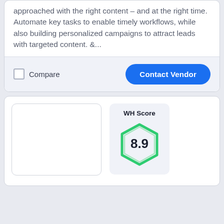approached with the right content – and at the right time. Automate key tasks to enable timely workflows, while also building personalized campaigns to attract leads with targeted content. &...
Compare
Contact Vendor
[Figure (other): WH Score badge showing 8.9 inside a green hexagon shape]
WH Score
8.9